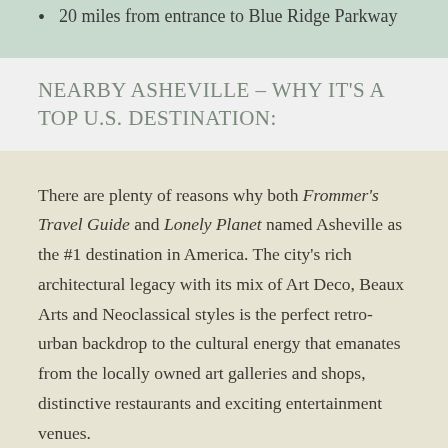20 miles from entrance to Blue Ridge Parkway
NEARBY ASHEVILLE – WHY IT'S A TOP U.S. DESTINATION:
There are plenty of reasons why both Frommer's Travel Guide and Lonely Planet named Asheville as the #1 destination in America. The city's rich architectural legacy with its mix of Art Deco, Beaux Arts and Neoclassical styles is the perfect retro-urban backdrop to the cultural energy that emanates from the locally owned art galleries and shops, distinctive restaurants and exciting entertainment venues.